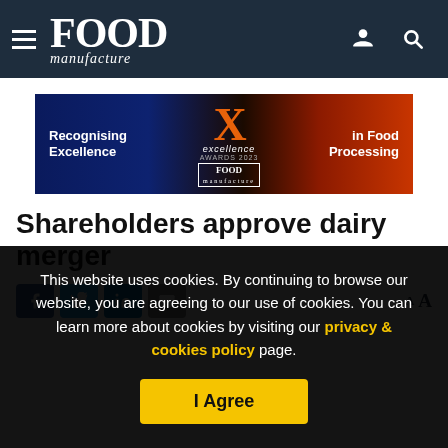FOOD manufacture
[Figure (illustration): Advertisement banner: 'Recognising Excellence in Food Processing' — Food Manufacture Excellence Awards 2023. Dark background with blue and orange/fire tones, large stylized X logo in orange.]
Shareholders approve dairy merger
[Figure (infographic): Social share buttons: Facebook (blue), Twitter (light blue), LinkedIn (dark blue), Email (grey). Font size controls (A A) on the right.]
This website uses cookies. By continuing to browse our website, you are agreeing to our use of cookies. You can learn more about cookies by visiting our privacy & cookies policy page.
I Agree